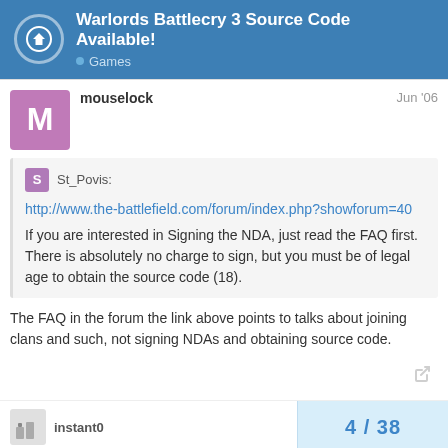Warlords Battlecry 3 Source Code Available! — Games
mouselock  Jun '06
St_Povis:
http://www.the-battlefield.com/forum/index.php?showforum=40
If you are interested in Signing the NDA, just read the FAQ first. There is absolutely no charge to sign, but you must be of legal age to obtain the source code (18).
The FAQ in the forum the link above points to talks about joining clans and such, not signing NDAs and obtaining source code.
instant0  4 / 38